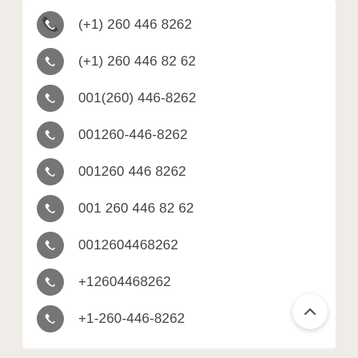(+1) 260 446 8262
(+1) 260 446 82 62
001(260) 446-8262
001260-446-8262
001260 446 8262
001 260 446 82 62
0012604468262
+12604468262
+1-260-446-8262